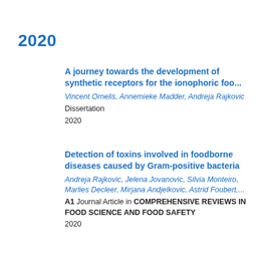2020
A journey towards the development of synthetic receptors for the ionophoric foo...
Vincent Ornelis, Annemieke Madder, Andreja Rajkovic
Dissertation
2020
Detection of toxins involved in foodborne diseases caused by Gram-positive bacteria
Andreja Rajkovic, Jelena Jovanovic, Silvia Monteiro, Marlies Decleer, Mirjana Andjelkovic, Astrid Foubert,...
A1 Journal Article in COMPREHENSIVE REVIEWS IN FOOD SCIENCE AND FOOD SAFETY
2020